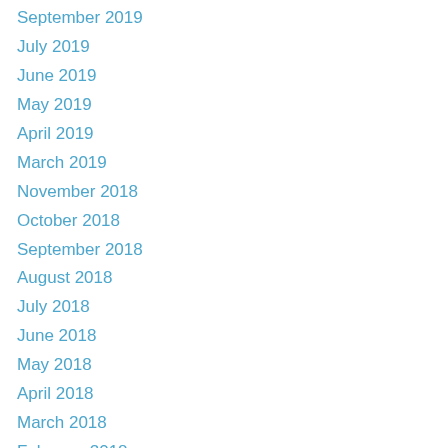September 2019
July 2019
June 2019
May 2019
April 2019
March 2019
November 2018
October 2018
September 2018
August 2018
July 2018
June 2018
May 2018
April 2018
March 2018
February 2018
January 2018
December 2017
September 2017
August 2017